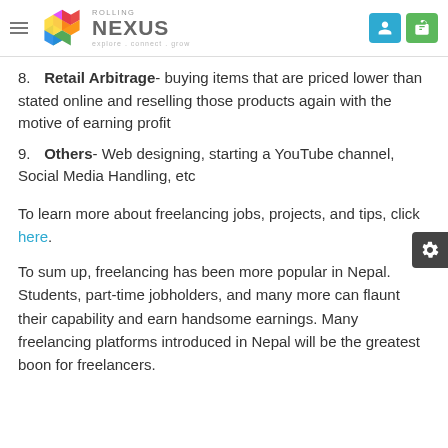Rolling Nexus - explore.connect.grow
Retail Arbitrage- buying items that are priced lower than stated online and reselling those products again with the motive of earning profit
Others- Web designing, starting a YouTube channel, Social Media Handling, etc
To learn more about freelancing jobs, projects, and tips, click here.
To sum up, freelancing has been more popular in Nepal. Students, part-time jobholders, and many more can flaunt their capability and earn handsome earnings. Many freelancing platforms introduced in Nepal will be the greatest boon for freelancers.